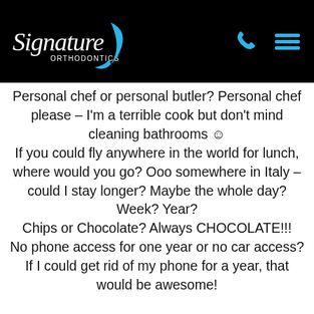[Figure (logo): Signature Orthodontics logo in white and blue on black background, with phone and menu icons on the right]
Personal chef or personal butler? Personal chef please – I'm a terrible cook but don't mind cleaning bathrooms ☺ If you could fly anywhere in the world for lunch, where would you go? Ooo somewhere in Italy – could I stay longer? Maybe the whole day? Week? Year? Chips or Chocolate? Always CHOCOLATE!!! No phone access for one year or no car access? If I could get rid of my phone for a year, that would be awesome!